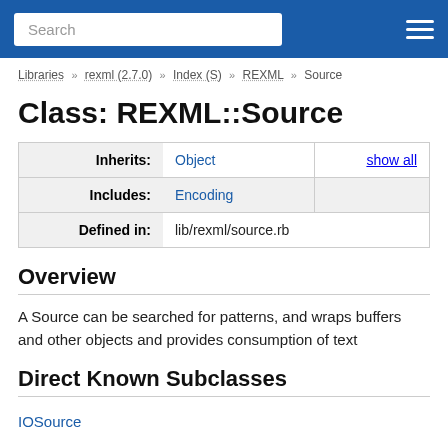Search  [menu]
Libraries >> rexml (2.7.0) >> Index (S) >> REXML >> Source
Class: REXML::Source
|  |  |  |
| --- | --- | --- |
| Inherits: | Object | show all |
| Includes: | Encoding |  |
| Defined in: | lib/rexml/source.rb |  |
Overview
A Source can be searched for patterns, and wraps buffers and other objects and provides consumption of text
Direct Known Subclasses
IOSource